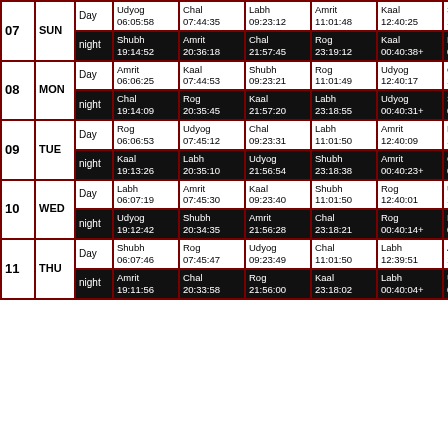| # | Day | D/N | Col1 | Col2 | Col3 | Col4 | Col5 | Col6 |
| --- | --- | --- | --- | --- | --- | --- | --- | --- |
| 07 | SUN | Day | Udyog 06:05:58 | Chal 07:44:35 | Labh 09:23:12 | Amrit 11:01:48 | Kaal 12:40:25 | Shubh 14:19 |
| 07 | SUN | night | Shubh 19:14:52 | Amrit 20:36:18 | Chal 21:57:45 | Rog 23:19:12 | Kaal 00:40:38+ | Labh 02:02 |
| 08 | MON | Day | Amrit 06:06:25 | Kaal 07:44:53 | Shubh 09:23:21 | Rog 11:01:49 | Udyog 12:40:17 | Chal 14:18 |
| 08 | MON | night | Chal 19:14:09 | Rog 20:35:45 | Kaal 21:57:20 | Labh 23:18:55 | Udyog 00:40:31+ | Shubh 02:02 |
| 09 | TUE | Day | Rog 06:06:53 | Udyog 07:45:12 | Chal 09:23:31 | Labh 11:01:50 | Amrit 12:40:09 | Kaal 14:18 |
| 09 | TUE | night | Kaal 19:13:26 | Labh 20:35:10 | Udyog 21:56:54 | Shubh 23:18:38 | Amrit 00:40:23+ | Chal 02:02 |
| 10 | WED | Day | Labh 06:07:19 | Amrit 07:45:30 | Kaal 09:23:40 | Shubh 11:01:50 | Rog 12:40:01 | Udyog 14:18 |
| 10 | WED | night | Udyog 19:12:42 | Shubh 20:34:35 | Amrit 21:56:28 | Chal 23:18:21 | Rog 00:40:14+ | Kaal 02:02 |
| 11 | THU | Day | Shubh 06:07:46 | Rog 07:45:47 | Udyog 09:23:49 | Chal 11:01:50 | Labh 12:39:51 | Amrit 14:17 |
| 11 | THU | night | Amrit 19:11:56 | Chal 20:33:58 | Rog 21:56:00 | Kaal 23:18:02 | Labh 00:40:04+ | Udyog 02:02 |